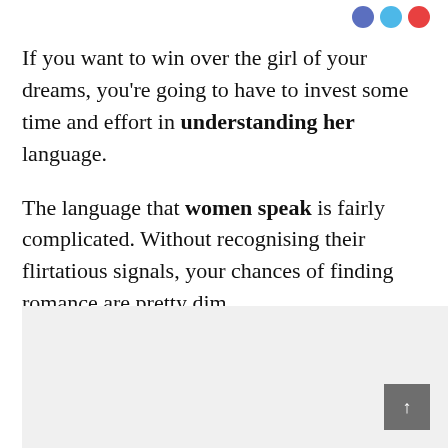[Figure (other): Three small social sharing icon circles: blue (Facebook), light blue (Twitter), red (Reddit/share)]
If you want to win over the girl of your dreams, you're going to have to invest some time and effort in understanding her language.
The language that women speak is fairly complicated. Without recognising their flirtatious signals, your chances of finding romance are pretty dim.
[Figure (other): Light gray advertisement or content placeholder box with a dark gray scroll-to-top button (↑) in the bottom-right corner]